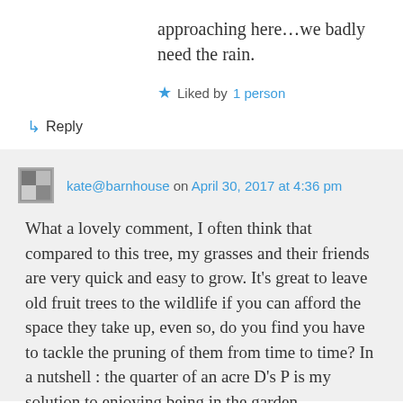approaching here…we badly need the rain.
★ Liked by 1 person
↳ Reply
kate@barnhouse on April 30, 2017 at 4:36 pm
What a lovely comment, I often think that compared to this tree, my grasses and their friends are very quick and easy to grow. It's great to leave old fruit trees to the wildlife if you can afford the space they take up, even so, do you find you have to tackle the pruning of them from time to time? In a nutshell : the quarter of an acre D's P is my solution to enjoying being in the garden